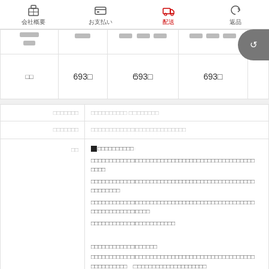会社概要 | お支払い | 配送 | 返品
| □□□□ | □□□ | □□□ □□□□ □□□□ | □□□ □□□□ □□□□ | □□□ |
| --- | --- | --- | --- | --- |
| □□ | 693□ | 693□ | 693□ |  |
| □□□□□□□ | □□□□□□□□□□ □□□□□□□□ |
| --- | --- |
| □□□□□□□ | □□□□□□□□□□□□□□□□□□□□□□□□□□ |
| □□ | ■□□□□□□□□□□
□□□□□□□□□□□□□□□□□□□□□□□□□□□□□□□□□□□□□□□□□□□□□
□□□□
□□□□□□□□□□□□□□□□□□□□□□□□□□□□□□□□□□□□□□□□□□□□□
□□□□□□□□
□□□□□□□□□□□□□□□□□□□□□□□□□□□□□□□□□□□□□□□□□□□□□
□□□□□□□□□□□□□□□□
□□□□□□□□□□□□□□□□□□□□□□□

□□□□□□□□□□□□□□□□□□
□□□□□□□□□□□□□□□□□□□□□□□□□□□□□□□□□□□□□□□□□□□□□
□□□□□□□□□□　□□□□□□□□□□□□□□□□□□□□ |